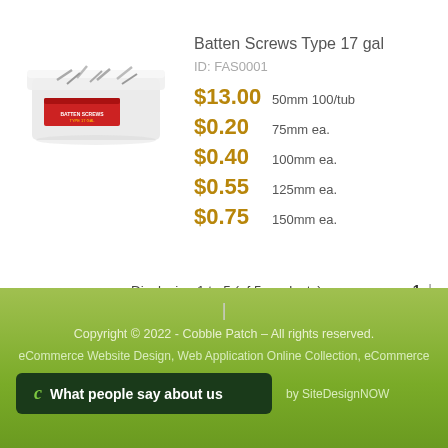[Figure (photo): Product photo of a clear plastic tub/container filled with Batten Screws Type 17 galvanized, with a red label on the side.]
Batten Screws Type 17 gal
ID: FAS0001
$13.00  50mm 100/tub
$0.20  75mm ea.
$0.40  100mm ea.
$0.55  125mm ea.
$0.75  150mm ea.
Displaying 1 to 5 (of 5 products)
| Copyright © 2022 - Cobble Patch – All rights reserved. eCommerce Website Design, Web Application Online Collection, eCommerce by SiteDesignNOW